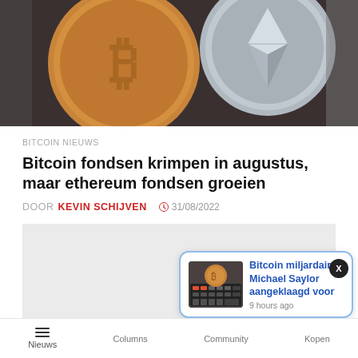[Figure (photo): Two cryptocurrency coins — Bitcoin (gold) on the left and Ethereum (silver) on the right — photographed close-up]
BITCOIN NIEUWS
Bitcoin fondsen krimpen in augustus, maar ethereum fondsen groeien
DOOR KEVIN SCHIJVEN  31/08/2022
[Figure (screenshot): Grey advertisement placeholder area]
[Figure (photo): Notification popup: Bitcoin miljardair Michael Saylor aangeklaagd voor — 9 hours ago, with thumbnail of gold coin on calculator]
Nieuws  Columns  Community  Kopen